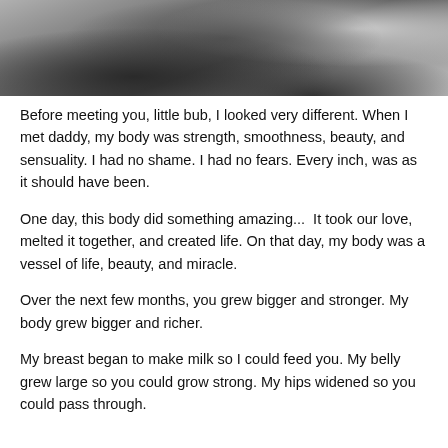[Figure (photo): Black and white photograph of a woman holding her arms crossed over her chest, partial view showing torso and arms, with soft light in the background.]
Before meeting you, little bub, I looked very different. When I met daddy, my body was strength, smoothness, beauty, and sensuality. I had no shame. I had no fears. Every inch, was as it should have been.
One day, this body did something amazing...  It took our love, melted it together, and created life. On that day, my body was a vessel of life, beauty, and miracle.
Over the next few months, you grew bigger and stronger. My body grew bigger and richer.
My breast began to make milk so I could feed you. My belly grew large so you could grow strong. My hips widened so you could pass through.